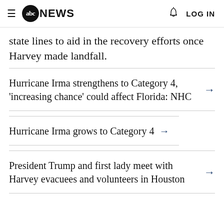abc NEWS | LOG IN
state lines to aid in the recovery efforts once Harvey made landfall.
Hurricane Irma strengthens to Category 4, 'increasing chance' could affect Florida: NHC
Hurricane Irma grows to Category 4
President Trump and first lady meet with Harvey evacuees and volunteers in Houston